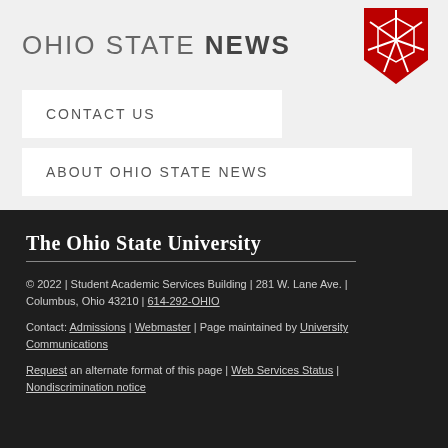[Figure (logo): Ohio State News logo with text and OSU starburst icon in red]
CONTACT US
ABOUT OHIO STATE NEWS
The Ohio State University
© 2022 | Student Academic Services Building | 281 W. Lane Ave. | Columbus, Ohio 43210 | 614-292-OHIO
Contact: Admissions | Webmaster | Page maintained by University Communications
Request an alternate format of this page | Web Services Status | Nondiscrimination notice